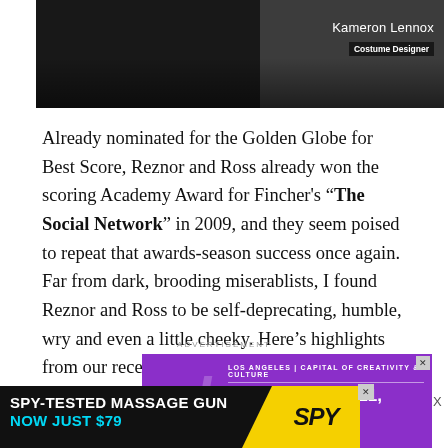[Figure (photo): Dark photo banner with person silhouette, overlaid with name 'Kameron Lennox' and title 'Costume Designer']
Already nominated for the Golden Globe for Best Score, Reznor and Ross already won the scoring Academy Award for Fincher's “The Social Network” in 2009, and they seem poised to repeat that awards-season success once again. Far from dark, brooding miserablists, I found Reznor and Ross to be self-deprecating, humble, wry and even a little cheeky. Here’s highlights from our recent conversation in a noisy New York hotel restaurant.
ADVERTISEMENT
[Figure (other): LA3C advertisement banner. Purple background. Text: LOS ANGELES | CAPITAL OF CREATIVITY & CULTURE. DECEMBER 10-11, 2022. LA STATE HISTORIC PARK.]
[Figure (other): SPY advertisement banner. Black and yellow background. Text: SPY-TESTED MASSAGE GUN NOW JUST $79. SPY logo in yellow.]